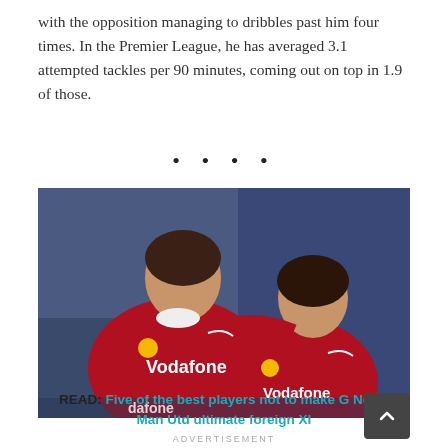with the opposition managing to dribbles past him four times. In the Premier League, he has averaged 3.1 attempted tackles per 90 minutes, coming out on top in 1.9 of those.
[Figure (photo): Two Manchester United players in red Vodafone-sponsored jerseys, one with his arm around the other, appearing to be Gary Neville and a younger teammate.]
READ: Five of the best players not to make G Neville's Man Utd ultimate foreign XI
ADVERTISEMENT